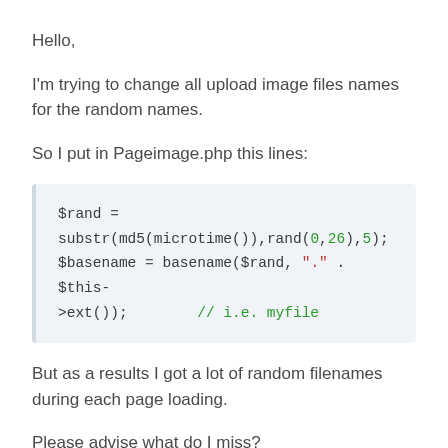Hello,
I'm trying to change all upload image files names for the random names.
So I put in Pageimage.php this lines:
[Figure (screenshot): Code block showing PHP code: $rand = substr(md5(microtime()),rand(0,26),5); $basename = basename($rand, "." . $this->ext()); // i.e. myfile]
But as a results I got a lot of random filenames during each page loading.
Please advise what do I miss?